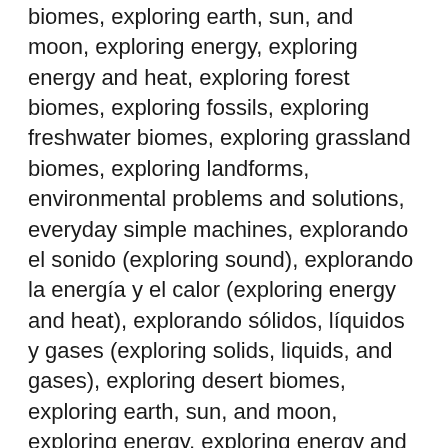biomes, exploring earth, sun, and moon, exploring energy, exploring energy and heat, exploring forest biomes, exploring fossils, exploring freshwater biomes, exploring grassland biomes, exploring landforms, environmental problems and solutions, everyday simple machines, explorando el sonido (exploring sound), explorando la energía y el calor (exploring energy and heat), explorando sólidos, líquidos y gases (exploring solids, liquids, and gases), exploring desert biomes, exploring earth, sun, and moon, exploring energy, exploring energy and heat, exploring forest biomes, exploring fossils, exploring freshwater biomes, exploring grassland biomes, exploring landforms, exploring marine biomes, exploring solids, liquids, and gases, exploring sound, exploring the building blocks of matter, fall, fascinating fossils, food and digestion, food chains, forces in fluids, forming bonds, fósiles fascinantes (fascinating